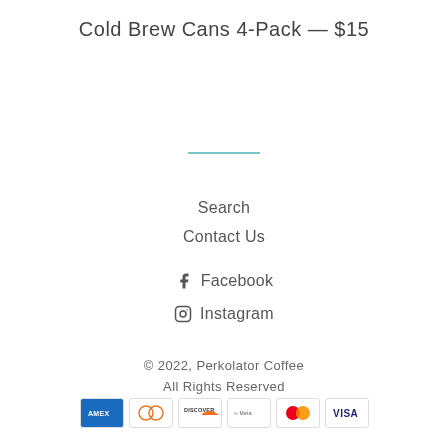Cold Brew Cans 4-Pack — $15
[Figure (other): Teal horizontal divider line]
Search
Contact Us
Facebook
Instagram
© 2022, Perkolator Coffee
All Rights Reserved
[Figure (other): Payment method icons: American Express, Diners Club, Discover, Meta Pay, Mastercard, Visa]